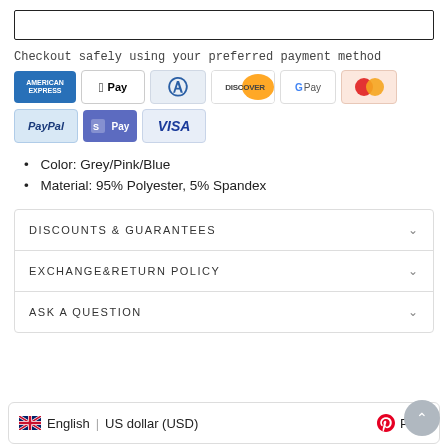Checkout safely using your preferred payment method
[Figure (infographic): Payment method icons: American Express, Apple Pay, Diners Club, Discover, Google Pay, Mastercard, PayPal, Shopify Pay, Visa]
Color: Grey/Pink/Blue
Material: 95% Polyester, 5% Spandex
DISCOUNTS & GUARANTEES
EXCHANGE&RETURN POLICY
ASK A QUESTION
English | US dollar (USD)   Pin it